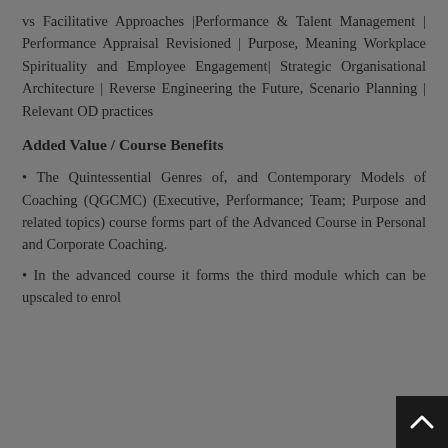vs Facilitative Approaches |Performance & Talent Management | Performance Appraisal Revisioned | Purpose, Meaning Workplace Spirituality and Employee Engagement| Strategic Organisational Architecture | Reverse Engineering the Future, Scenario Planning | Relevant OD practices
Added Value / Course Benefits
• The Quintessential Genres of, and Contemporary Models of Coaching (QGCMC) (Executive, Performance; Team; Purpose and related topics) course forms part of the Advanced Course in Personal and Corporate Coaching.
• In the advanced course it forms the third module which can be upscaled to enrol